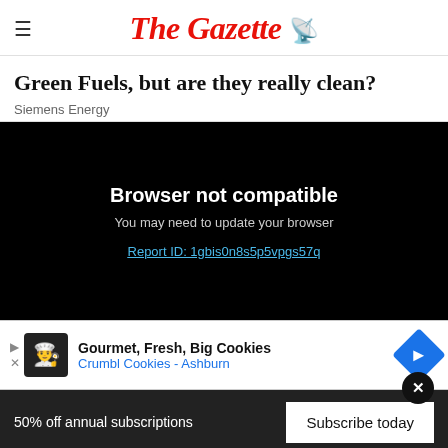The Gazette
Green Fuels, but are they really clean?
Siemens Energy
[Figure (screenshot): Black video player area showing 'Browser not compatible' error message, subtitle 'You may need to update your browser', and a link 'Report ID: 1gbis0n8s5p5vpgs57q']
[Figure (screenshot): Advertisement banner: Gourmet, Fresh, Big Cookies — Crumbl Cookies - Ashburn, with cookie chef icon and blue diamond arrow icon]
50% off annual subscriptions
Subscribe today